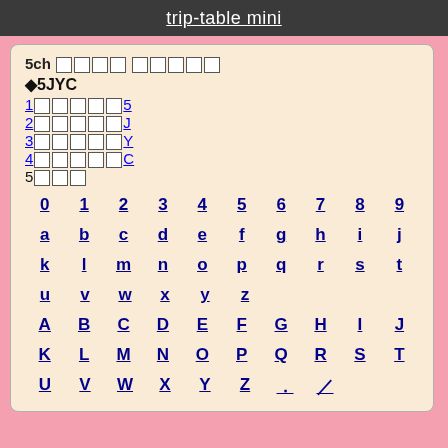trip-table mini
5ch □□□□ □□□□□
◆5JYC
1□□□□□5
2□□□□□J
3□□□□□Y
4□□□□□C
5□□□
| 0 | 1 | 2 | 3 | 4 | 5 | 6 | 7 | 8 | 9 |
| a | b | c | d | e | f | g | h | i | j |
| k | l | m | n | o | p | q | r | s | t |
| u | v | w | x | y | z |  |  |  |  |
| A | B | C | D | E | F | G | H | I | J |
| K | L | M | N | O | P | Q | R | S | T |
| U | V | W | X | Y | Z | ． | ／ |  |  |